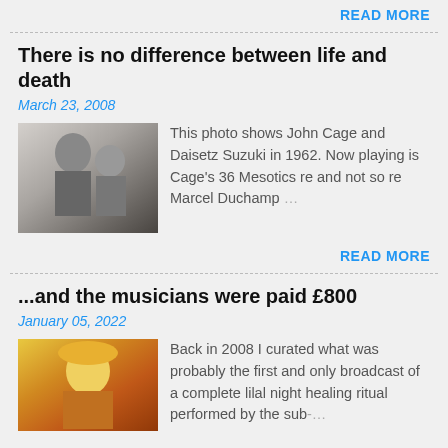READ MORE
There is no difference between life and death
March 23, 2008
[Figure (photo): Black and white photo of John Cage and Daisetz Suzuki in 1962]
This photo shows John Cage and Daisetz Suzuki in 1962. Now playing is Cage's 36 Mesotics re and not so re Marcel Duchamp …
READ MORE
...and the musicians were paid £800
January 05, 2022
[Figure (photo): Color photo of a person in traditional costume with yellow/gold and orange clothing]
Back in 2008 I curated what was probably the first and only broadcast of a complete lilal night healing ritual performed by the sub-…